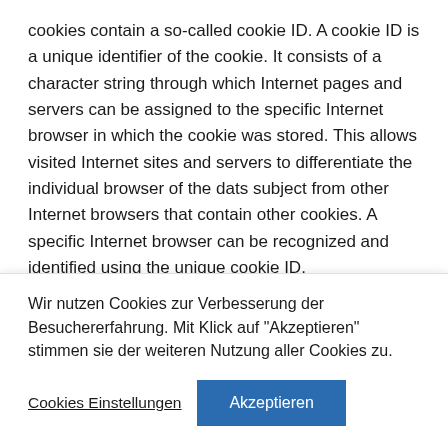cookies contain a so-called cookie ID. A cookie ID is a unique identifier of the cookie. It consists of a character string through which Internet pages and servers can be assigned to the specific Internet browser in which the cookie was stored. This allows visited Internet sites and servers to differentiate the individual browser of the dats subject from other Internet browsers that contain other cookies. A specific Internet browser can be recognized and identified using the unique cookie ID.
The relationship of his the WOATT Webld Of
Wir nutzen Cookies zur Verbesserung der Besuchererfahrung. Mit Klick auf "Akzeptieren" stimmen sie der weiteren Nutzung aller Cookies zu.
Cookies Einstellungen
Akzeptieren